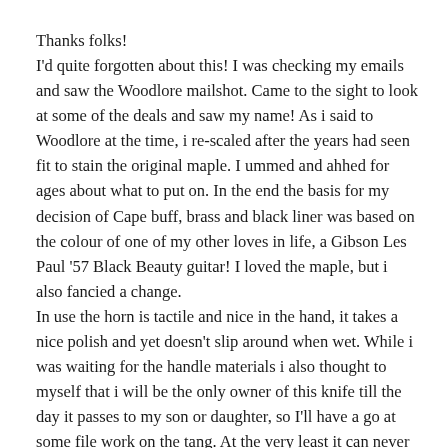Thanks folks!
I'd quite forgotten about this! I was checking my emails and saw the Woodlore mailshot. Came to the sight to look at some of the deals and saw my name! As i said to Woodlore at the time, i re-scaled after the years had seen fit to stain the original maple. I ummed and ahhed for ages about what to put on. In the end the basis for my decision of Cape buff, brass and black liner was based on the colour of one of my other loves in life, a Gibson Les Paul '57 Black Beauty guitar! I loved the maple, but i also fancied a change.
In use the horn is tactile and nice in the hand, it takes a nice polish and yet doesn't slip around when wet. While i was waiting for the handle materials i also thought to myself that i will be the only owner of this knife till the day it passes to my son or daughter, so I'll have a go at some file work on the tang. At the very least it can never be confused with anybody else's! I'm glad you all like it anyway, I've been watching out for fire wielding hoards of folk in "The Queue" to come after me. All i